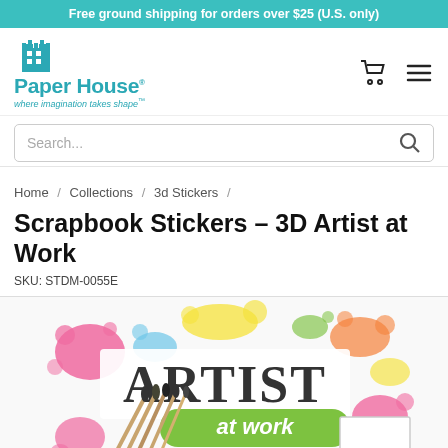Free ground shipping for orders over $25 (U.S. only)
[Figure (logo): Paper House Productions logo with building icon and tagline 'where imagination takes shape']
Search...
Home / Collections / 3d Stickers /
Scrapbook Stickers – 3D Artist at Work
SKU: STDM-0055E
[Figure (photo): Product image showing '3D Artist at Work' scrapbook sticker with colorful paint splatters in pink, yellow, green, blue, text 'ARTIST at work' and paint brushes on white background]